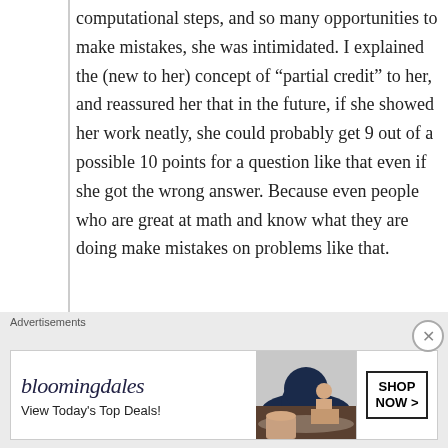computational steps, and so many opportunities to make mistakes, she was intimidated. I explained the (new to her) concept of “partial credit” to her, and reassured her that in the future, if she showed her work neatly, she could probably get 9 out of a possible 10 points for a question like that even if she got the wrong answer. Because even people who are great at math and know what they are doing make mistakes on problems like that.
★ Like
↳ Reply
Advertisements
[Figure (infographic): Bloomingdale's advertisement banner: logo text 'bloomingdales' with woman wearing large hat, text 'View Today’s Top Deals!' and a 'SHOP NOW >' button box.]